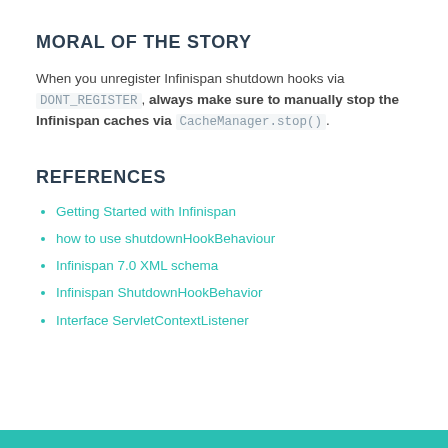MORAL OF THE STORY
When you unregister Infinispan shutdown hooks via DONT_REGISTER, always make sure to manually stop the Infinispan caches via CacheManager.stop().
REFERENCES
Getting Started with Infinispan
how to use shutdownHookBehaviour
Infinispan 7.0 XML schema
Infinispan ShutdownHookBehavior
Interface ServletContextListener